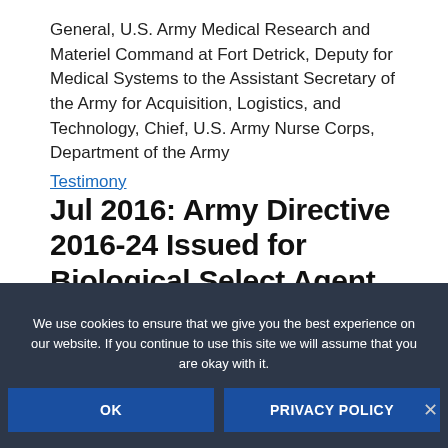General, U.S. Army Medical Research and Materiel Command at Fort Detrick, Deputy for Medical Systems to the Assistant Secretary of the Army for Acquisition, Logistics, and Technology, Chief, U.S. Army Nurse Corps, Department of the Army Testimony
Jul 2016: Army Directive 2016-24 Issued for Biological Select Agent and Toxins (BSAT) Biosafety Program
This directive establishes policy and assigns
We use cookies to ensure that we give you the best experience on our website. If you continue to use this site we will assume that you are okay with it.